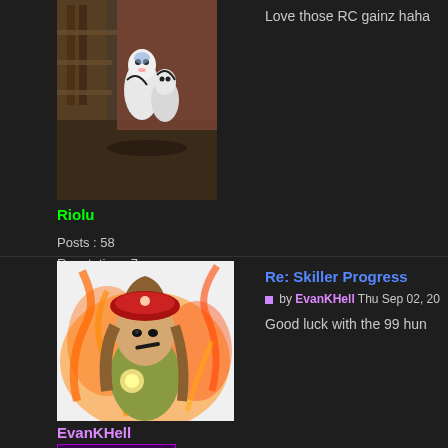[Figure (photo): Avatar image for user Riolu showing game characters in a 3D environment]
Riolu
Posts : 58
Reputation : 7
Age : 25
Join date : 2019-08-03
Love those RC gainz haha
[Figure (photo): Avatar image for user EvanKHell showing an anime character with fire]
EvanKHell
Active Member
Posts : 480
Re: Skiller Progress
by EvanKHell Thu Sep 02, 20
Good luck with the 99 hun